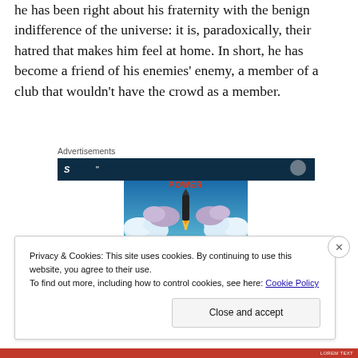he has been right about his fraternity with the benign indifference of the universe: it is, paradoxically, their hatred that makes him feel at home. In short, he has become a friend of his enemies' enemy, a member of a club that wouldn't have the crowd as a member.
Advertisements
[Figure (illustration): Advertisement banner with dark blue background and an illustration showing a rocket launching through clouds with the word POWER in red text.]
Privacy & Cookies: This site uses cookies. By continuing to use this website, you agree to their use.
To find out more, including how to control cookies, see here: Cookie Policy
Close and accept